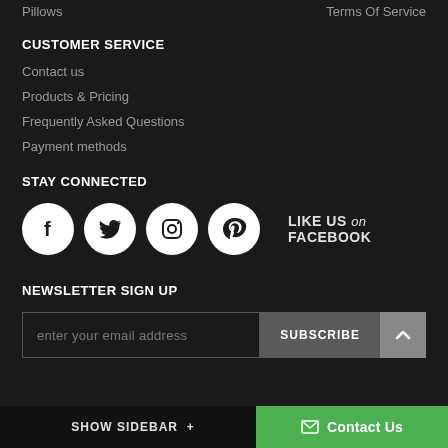Pillows
Terms Of Service
CUSTOMER SERVICE
Contact us
Products & Pricing
Frequently Asked Questions
Payment methods
STAY CONNECTED
[Figure (illustration): Four social media icons (Facebook, Twitter, Instagram, Pinterest) as white circles on dark background, with 'LIKE US on FACEBOOK' text to the right]
NEWSLETTER SIGN UP
enter your email address  SUBSCRIBE
SHOW SIDEBAR +  Contact Us